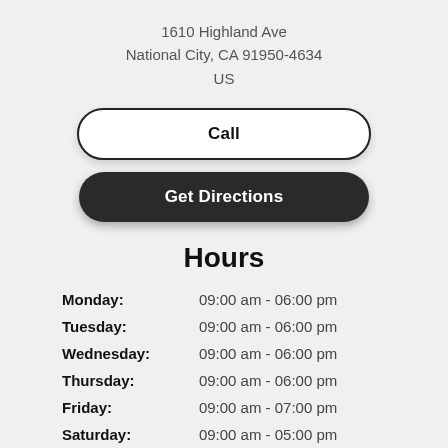1610 Highland Ave
National City, CA 91950-4634
US
Call
Get Directions
Hours
| Day | Hours |
| --- | --- |
| Monday: | 09:00 am - 06:00 pm |
| Tuesday: | 09:00 am - 06:00 pm |
| Wednesday: | 09:00 am - 06:00 pm |
| Thursday: | 09:00 am - 06:00 pm |
| Friday: | 09:00 am - 07:00 pm |
| Saturday: | 09:00 am - 05:00 pm |